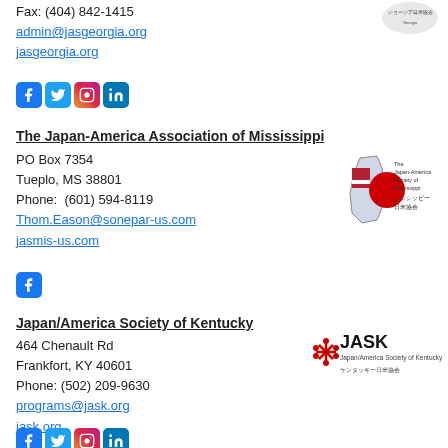Fax: (404) 842-1415
admin@jasgeorgia.org
jasgeorgia.org
[Figure (logo): Social media icons: Facebook, Twitter, Instagram, LinkedIn]
The Japan-America Association of Mississippi
PO Box 7354
Tueplo, MS 38801
Phone:  (601) 594-8119
Thom.Eason@sonepar-us.com
jasmis-us.com
[Figure (logo): The Japan-America Society of Mississippi logo with Mississippi state outline and Japanese text ミシシッピー日米協会]
[Figure (logo): Facebook icon]
Japan/America Society of Kentucky
464 Chenault Rd
Frankfort, KY 40601
Phone: (502) 209-9630
programs@jask.org
jask.org
[Figure (logo): JASK Japan/America Society of Kentucky logo with Japanese text ケンタッキー日米協会]
[Figure (logo): Social media icons: Facebook, Twitter, Instagram, LinkedIn]